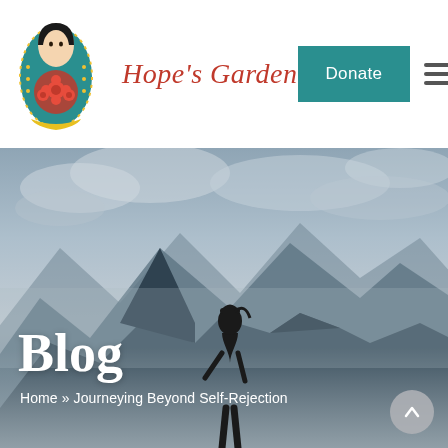[Figure (logo): Hope's Garden logo: stylized folk-art illustration of a woman in a teal headscarf with red flowers]
Hope's Garden
[Figure (other): Teal 'Donate' button]
[Figure (other): Hamburger menu icon (three horizontal lines)]
[Figure (photo): Hero banner: moody landscape photo of a person silhouetted against misty mountains and cloudy sky]
Blog
Home » Journeying Beyond Self-Rejection